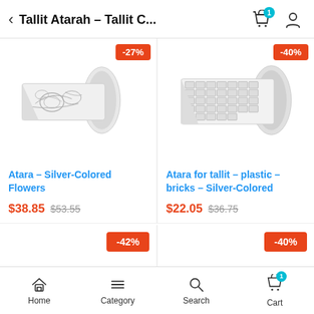Tallit Atarah – Tallit C...
[Figure (photo): Silver-colored flower embroidered tallit atara (collar piece) rolled up, shown on white background, with -27% discount badge]
Atara – Silver-Colored Flowers
$38.85  $53.55
[Figure (photo): Silver-colored plastic bricks patterned tallit atara (collar piece) rolled up, shown on white background, with -40% discount badge]
Atara for tallit – plastic – bricks – Silver-Colored
$22.05  $36.75
Home  Category  Search  Cart